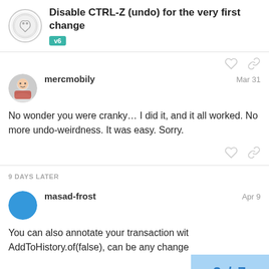Disable CTRL-Z (undo) for the very first change — v6
mercmobily — Mar 31
No wonder you were cranky… I did it, and it all worked. No more undo-weirdness. It was easy. Sorry.
9 DAYS LATER
masad-frost — Apr 9
You can also annotate your transaction wit AddToHistory.of(false), can be any change
3 / 7